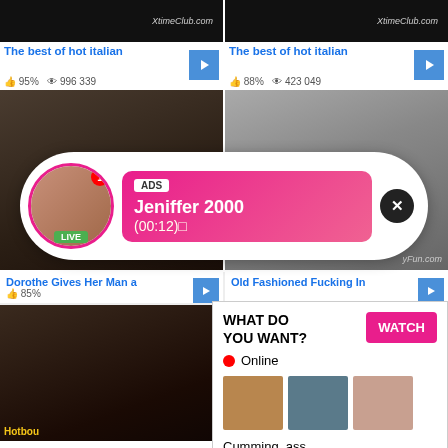[Figure (screenshot): Video thumbnail with XtimeClub.com watermark - dark background]
The best of hot italian
👍 95%  👁 996 339
[Figure (screenshot): Video thumbnail with XtimeClub.com watermark - dark background]
The best of hot italian
👍 88%  👁 423 049
[Figure (screenshot): Video thumbnails in mid row - adult content]
[Figure (infographic): Notification popup: ADS - Jeniffer 2000 (00:12) LIVE with avatar, pink gradient background, close button]
Dorothe Gives Her Man a
👍 85%
Old Fashioned Fucking In
[Figure (screenshot): Large adult video thumbnail with Hotbou label]
[Figure (infographic): Ad popup: WHAT DO YOU WANT? WATCH button, Online indicator, three thumbnails, text: Cumming, ass fucking, squirt or... • ADS X]